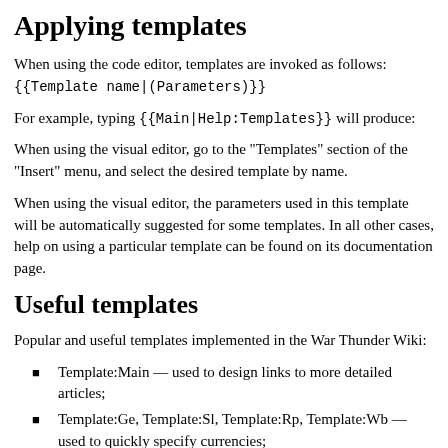Applying templates
When using the code editor, templates are invoked as follows:
{{Template name|(Parameters)}}
For example, typing {{Main|Help:Templates}} will produce:
When using the visual editor, go to the "Templates" section of the "Insert" menu, and select the desired template by name.
When using the visual editor, the parameters used in this template will be automatically suggested for some templates. In all other cases, help on using a particular template can be found on its documentation page.
Useful templates
Popular and useful templates implemented in the War Thunder Wiki:
Template:Main — used to design links to more detailed articles;
Template:Ge, Template:Sl, Template:Rp, Template:Wb — used to quickly specify currencies;